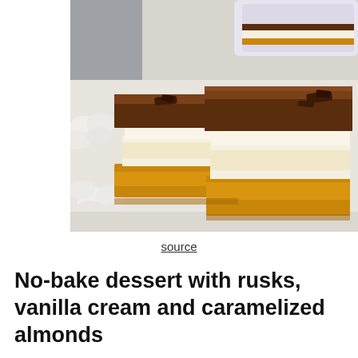[Figure (photo): Two square layered dessert bars with a chocolate ganache top layer, white vanilla cream middle, caramelized almond base layer, placed on a decorative white plate with whipped cream rosettes. A baking dish with more dessert is visible in the background.]
source
No-bake dessert with rusks, vanilla cream and caramelized almonds